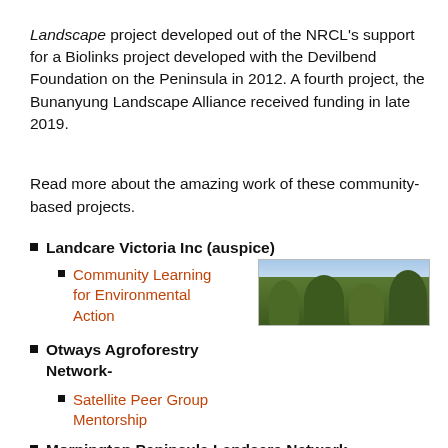Landscape project developed out of the NRCL's support for a Biolinks project developed with the Devilbend Foundation on the Peninsula in 2012. A fourth project, the Bunanyung Landscape Alliance received funding in late 2019.
Read more about the amazing work of these community-based projects.
Landcare Victoria Inc (auspice)
Community Learning for Environmental Action
[Figure (photo): Photo of trees/woodland landscape with sky in background]
Otways Agroforestry Network-
Satellite Peer Group Mentorship
Mornington Peninsula Landcare Network
Linking the Mornington Peninsula Landscape